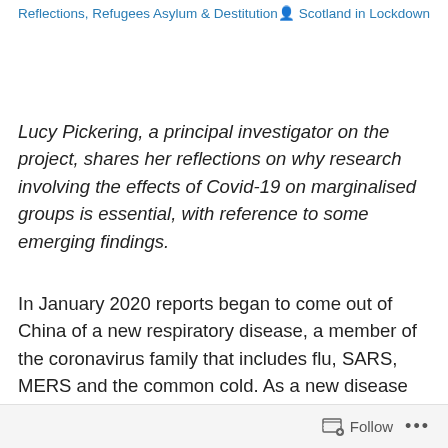Health Conditions, Domestic Abuse & Sexual Violence, Reflections, Refugees Asylum & Destitution   Scotland in Lockdown
Lucy Pickering, a principal investigator on the project, shares her reflections on why research involving the effects of Covid-19 on marginalised groups is essential, with reference to some emerging findings.
In January 2020 reports began to come out of China of a new respiratory disease, a member of the coronavirus family that includes flu, SARS, MERS and the common cold. As a new disease no-one had immunity and no-one (yet) knew its effects.
Follow ...